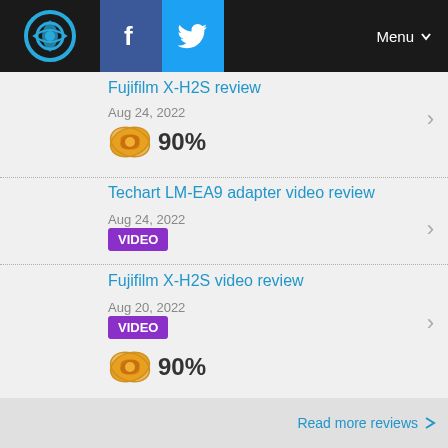Navigation bar with logo, Facebook, Twitter icons and Menu
Fujifilm X-H2S review
Aug 24, 2022
90%
Techart LM-EA9 adapter video review
Aug 24, 2022
VIDEO
Fujifilm X-H2S video review
Aug 20, 2022
VIDEO
90%
Read more reviews